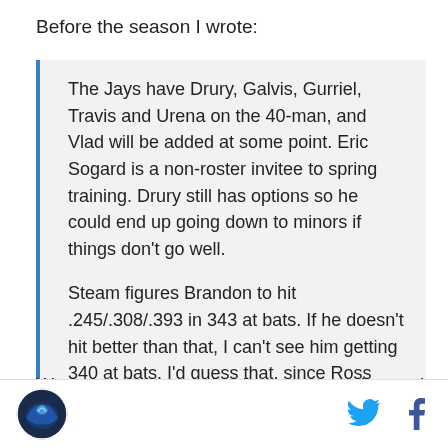Before the season I wrote:
The Jays have Drury, Galvis, Gurriel, Travis and Urena on the 40-man, and Vlad will be added at some point. Eric Sogard is a non-roster invitee to spring training. Drury still has options so he could end up going down to minors if things don't go well.

Steam figures Brandon to hit .245/.308/.393 in 343 at bats. If he doesn't hit better than that, I can't see him getting 340 at bats. I'd guess that, since Ross traded for him, he'll get every chance, but he'll need to hit better than that line.
Wrong on that one. He hit worse than that and played
[Figure (logo): Sports website logo — circular badge with bird/wing graphic in blue tones]
[Figure (logo): Twitter bird icon in light blue]
[Figure (logo): Facebook f icon in blue]